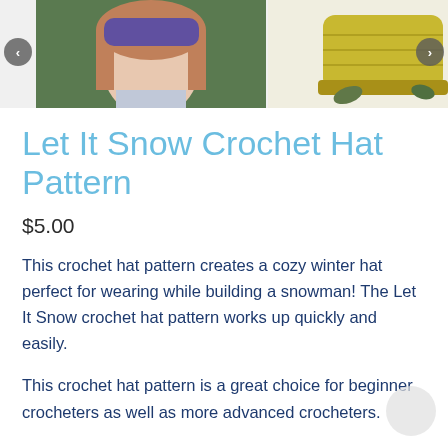[Figure (photo): Three thumbnail product images showing crochet hats — a woman wearing a purple/blue crochet headband, a yellow textured crochet hat, and a dark blue/gray crochet beanie. Navigation arrows on left and right.]
Let It Snow Crochet Hat Pattern
$5.00
This crochet hat pattern creates a cozy winter hat perfect for wearing while building a snowman! The Let It Snow crochet hat pattern works up quickly and easily.
This crochet hat pattern is a great choice for beginner crocheters as well as more advanced crocheters.